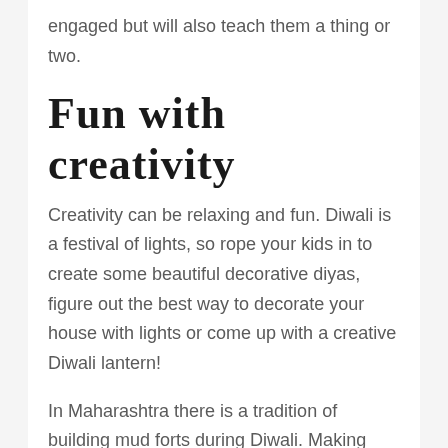engaged but will also teach them a thing or two.
Fun with creativity
Creativity can be relaxing and fun. Diwali is a festival of lights, so rope your kids in to create some beautiful decorative diyas, figure out the best way to decorate your house with lights or come up with a creative Diwali lantern!
In Maharashtra there is a tradition of building mud forts during Diwali. Making 'Killa' as it is called in Marathi is a popular group activity among children. It is a great